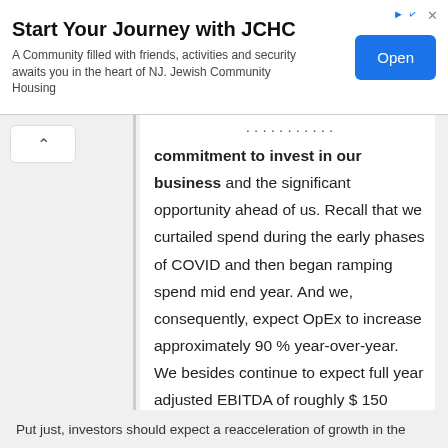[Figure (other): Advertisement banner for JCHC (Jewish Community Housing). Title: 'Start Your Journey with JCHC'. Subtitle: 'A Community filled with friends, activities and security awaits you in the heart of NJ. Jewish Community Housing'. Blue 'Open' button on right.]
commitment to invest in our business and the significant opportunity ahead of us. Recall that we curtailed spend during the early phases of COVID and then began ramping spend mid end year. And we, consequently, expect OpEx to increase approximately 90 % year-over-year. We besides continue to expect full year adjusted EBITDA of roughly $ 150 million.
Put just, investors should expect a reacceleration of growth in the